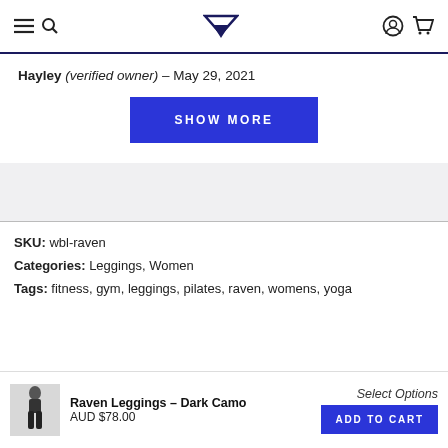Navigation header with menu, search, logo, user and cart icons
Hayley (verified owner) – May 29, 2021
SHOW MORE
SKU: wbl-raven
Categories: Leggings, Women
Tags: fitness, gym, leggings, pilates, raven, womens, yoga
Select Options
Raven Leggings – Dark Camo
AUD $78.00
ADD TO CART